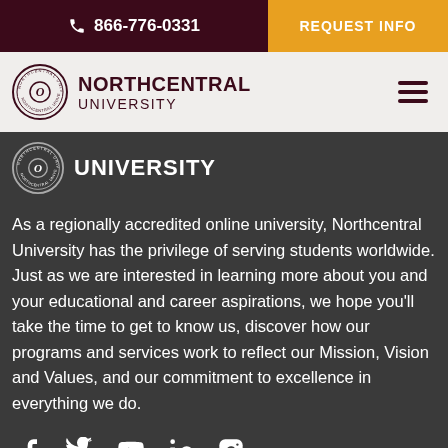866-776-0331 | REQUEST INFO
[Figure (logo): Northcentral University logo with circular seal and text NORTHCENTRAL UNIVERSITY]
[Figure (logo): Northcentral University scrolled logo showing UNIVERSITY text and circular seal on dark background]
As a regionally accredited online university, Northcentral University has the privilege of serving students worldwide. Just as we are interested in learning more about you and your educational and career aspirations, we hope you'll take the time to get to know us, discover how our programs and services work to reflect our Mission, Vision and Values, and our commitment to excellence in everything we do.
[Figure (infographic): Social media icons: Facebook, Twitter, YouTube, LinkedIn, Instagram]